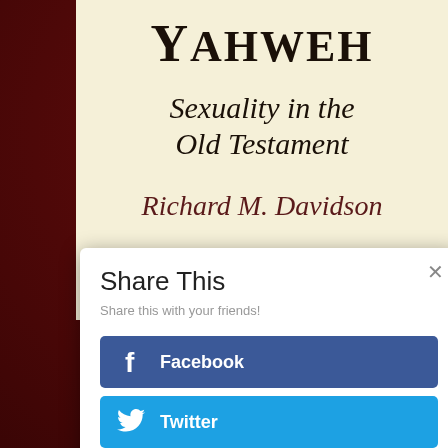[Figure (photo): Book cover for 'Yahweh: Sexuality in the Old Testament' by Richard M. Davidson, with a beige/cream background for the text area and dark red background surroundings.]
Yahweh
Sexuality in the Old Testament
Richard M. Davidson
Share This
Share this with your friends!
Facebook
Twitter